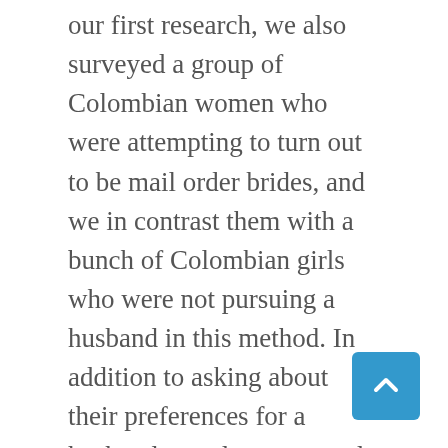our first research, we also surveyed a group of Colombian women who were attempting to turn out to be mail order brides, and we in contrast them with a bunch of Colombian girls who were not pursuing a husband in this method. In addition to asking about their preferences for a husband, we also requested them what they thought men were in search of in a wife.
American females tend to be rather more depending on their spouses, who are also considered the main supplier within their loved ones. They will want pictures and make a fundamental“spec” of the attainable suitors. boyfriends acted as pimps for a number of the international (20%) and U.S. Noosibirsk, 655) are the home of a reasonable variety of recr ladies. marriage agency Web sites without the ladies’s knowledge or permission. Web sites typically include